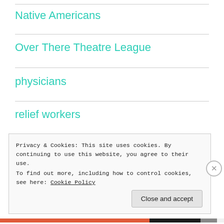Native Americans
Over There Theatre League
physicians
relief workers
scientists
suffrage movement
Privacy & Cookies: This site uses cookies. By continuing to use this website, you agree to their use.
To find out more, including how to control cookies, see here: Cookie Policy
Close and accept